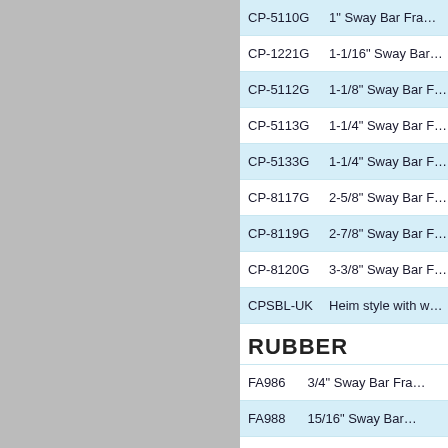| Part Number | Description |
| --- | --- |
| CP-5110G | 1" Sway Bar Fra… |
| CP-1221G | 1-1/16" Sway Bar… |
| CP-5112G | 1-1/8" Sway Bar F… |
| CP-5113G | 1-1/4" Sway Bar F… |
| CP-5133G | 1-1/4" Sway Bar F… |
| CP-8117G | 2-5/8" Sway Bar F… |
| CP-8119G | 2-7/8" Sway Bar F… |
| CP-8120G | 3-3/8" Sway Bar F… |
| CPSBL-UK | Heim style with w… |
RUBBER
| Part Number | Description |
| --- | --- |
| FA986 | 3/4" Sway Bar Fra… |
| FA988 | 15/16" Sway Bar… |